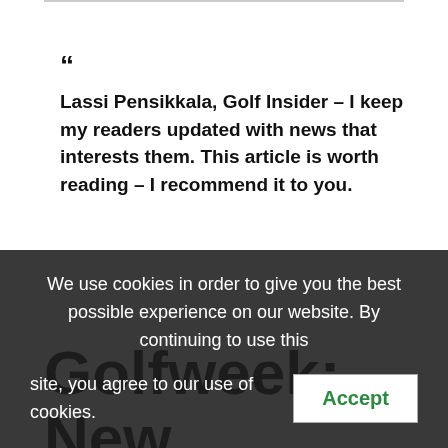“ Lassi Pensikkala, Golf Insider – I keep my readers updated with news that interests them. This article is worth reading – I recommend it to you.
Golfweek: New England native Keegan Bradley didn’t waste any time with his first
We use cookies in order to give you the best possible experience on our website. By continuing to use this site, you agree to our use of cookies. Accept